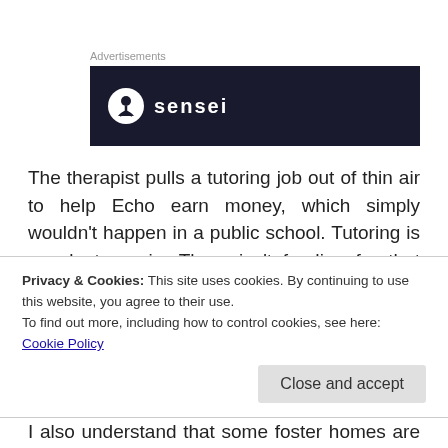Advertisements
[Figure (logo): Sensei advertisement banner — dark navy background with white tree/person logo and text 'sensei']
The therapist pulls a tutoring job out of thin air to help Echo earn money, which simply wouldn't happen in a public school. Tutoring is a volunteer gig. There isn't funding for that kind of thing. If it was a real job, there would be an application process, an interview, etc. This convenient plot device served to get the two troubled
Privacy & Cookies: This site uses cookies. By continuing to use this website, you agree to their use.
To find out more, including how to control cookies, see here: Cookie Policy
Close and accept
I also understand that some foster homes are terrible